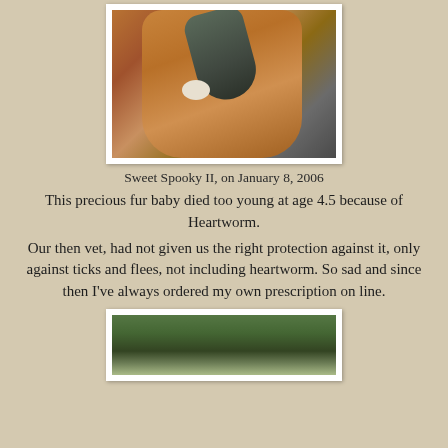[Figure (photo): Two cats together, one large orange/brown cat and a smaller dark cat, photographed outdoors near a car on January 8, 2006]
Sweet Spooky II, on January 8, 2006
This precious fur baby died too young at age 4.5 because of Heartworm.
Our then vet, had not given us the right protection against it, only against ticks and flees, not including heartworm. So sad and since then I've always ordered my own prescription on line.
[Figure (photo): Outdoor scene with trees and vegetation, partially visible at bottom of page]